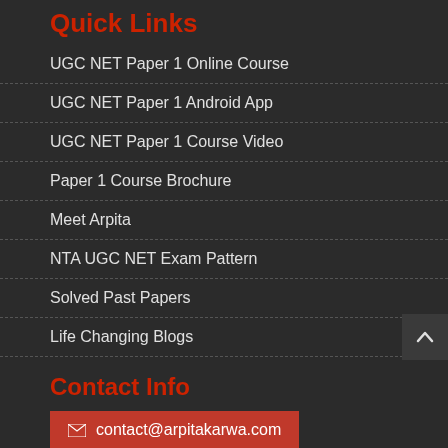Quick Links
UGC NET Paper 1 Online Course
UGC NET Paper 1 Android App
UGC NET Paper 1 Course Video
Paper 1 Course Brochure
Meet Arpita
NTA UGC NET Exam Pattern
Solved Past Papers
Life Changing Blogs
Contact Info
contact@arpitakarwa.com